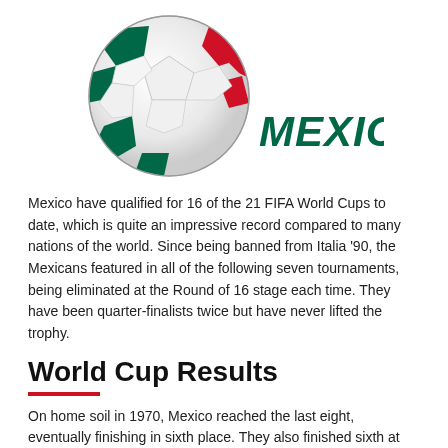[Figure (illustration): Soccer ball with Mexico flag colors (green, white, red) and the text MEXICO in dark green italic bold font to the right of the ball.]
Mexico have qualified for 16 of the 21 FIFA World Cups to date, which is quite an impressive record compared to many nations of the world. Since being banned from Italia '90, the Mexicans featured in all of the following seven tournaments, being eliminated at the Round of 16 stage each time. They have been quarter-finalists twice but have never lifted the trophy.
World Cup Results
On home soil in 1970, Mexico reached the last eight, eventually finishing in sixth place. They also finished sixth at their second